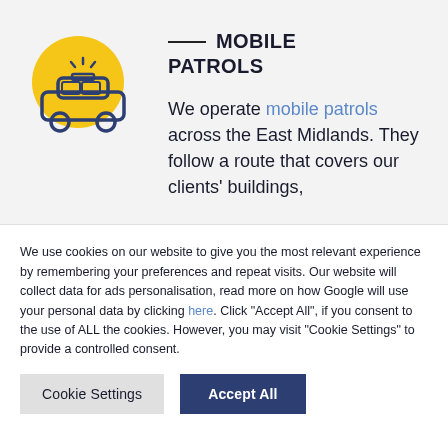[Figure (illustration): Yellow circle with a dark blue outlined patrol car icon with flashing lights on top, suggesting a mobile security patrol vehicle]
— MOBILE PATROLS
We operate mobile patrols across the East Midlands. They follow a route that covers our clients' buildings,
We use cookies on our website to give you the most relevant experience by remembering your preferences and repeat visits. Our website will collect data for ads personalisation, read more on how Google will use your personal data by clicking here. Click "Accept All", if you consent to the use of ALL the cookies. However, you may visit "Cookie Settings" to provide a controlled consent.
Cookie Settings
Accept All